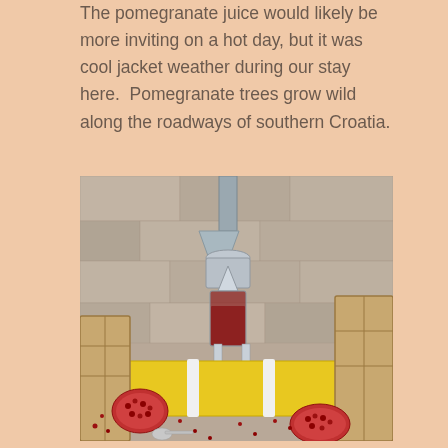The pomegranate juice would likely be more inviting on a hot day, but it was cool jacket weather during our stay here.  Pomegranate trees grow wild along the roadways of southern Croatia.
[Figure (photo): A pomegranate juice press machine on a yellow cutting board with pomegranate halves and seeds scattered around it, set against a stone wall background with wooden crates on either side.]